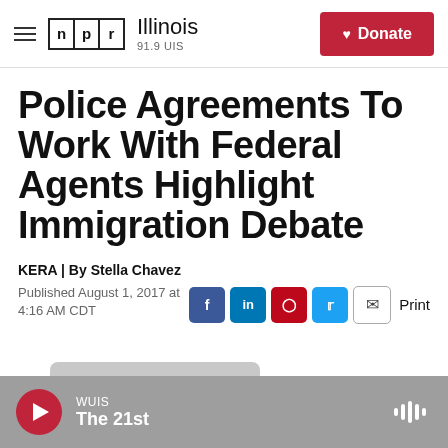NPR Illinois 91.9 UIS | Donate
Police Agreements To Work With Federal Agents Highlight Immigration Debate
KERA | By Stella Chavez
Published August 1, 2017 at 4:16 AM CDT
[Figure (other): Audio player bar showing WUIS The 21st with red play button and sound wave icon]